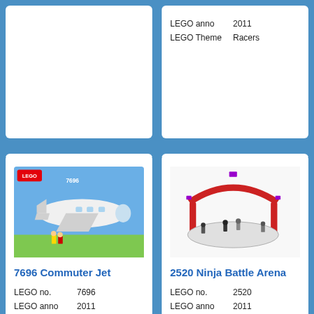[Figure (photo): Top-left card partial, image cut off at top]
LEGO anno 2011
LEGO Theme Racers
[Figure (photo): LEGO 7696 Commuter Jet box art showing a white passenger jet]
7696 Commuter Jet
LEGO no.   7696
LEGO anno  2011
LEGO Theme Town
[Figure (photo): LEGO 2520 Ninja Battle Arena set showing a circular battle arena]
2520 Ninja Battle Arena
LEGO no.   2520
LEGO anno  2011
LEGO Theme Ninjago
[Figure (photo): Bottom-left card showing a dark spiky creature/robot figure]
[Figure (photo): Bottom-right card showing colorful LEGO set with animals and figures]